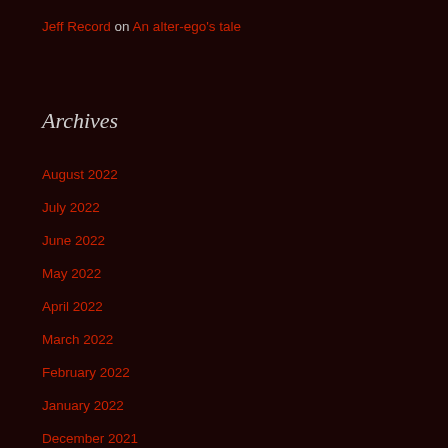Jeff Record on An alter-ego's tale
Archives
August 2022
July 2022
June 2022
May 2022
April 2022
March 2022
February 2022
January 2022
December 2021
November 2021